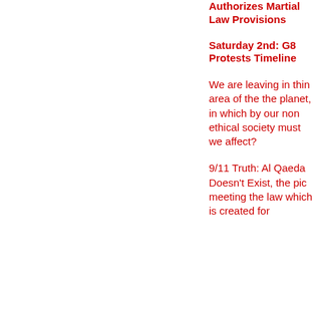Authorizes Martial Law Provisions
Saturday 2nd: G8 Protests Timeline
We are leaving in thin area of the the planet, in which by our non ethical society must we affect?
9/11 Truth: Al Qaeda Doesn't Exist, the pic meeting the law which is created for